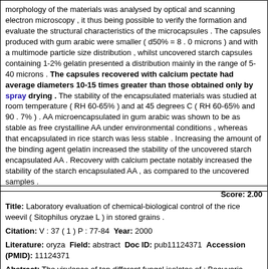morphology of the materials was analysed by optical and scanning electron microscopy , it thus being possible to verify the formation and evaluate the structural characteristics of the microcapsules . The capsules produced with gum arabic were smaller ( d50% = 8 . 0 microns ) and with a multimode particle size distribution , whilst uncovered starch capsules containing 1-2% gelatin presented a distribution mainly in the range of 5-40 microns . The capsules recovered with calcium pectate had average diameters 10-15 times greater than those obtained only by spray drying . The stability of the encapsulated materials was studied at room temperature ( RH 60-65% ) and at 45 degrees C ( RH 60-65% and 90 . 7% ) . AA microencapsulated in gum arabic was shown to be as stable as free crystalline AA under environmental conditions , whereas that encapsulated in rice starch was less stable . Increasing the amount of the binding agent gelatin increased the stability of the uncovered starch encapsulated AA . Recovery with calcium pectate notably increased the stability of the starch encapsulated AA , as compared to the uncovered samples .
Score: 2.00
Title: Laboratory evaluation of chemical-biological control of the rice weevil ( Sitophilus oryzae L ) in stored grains .
Citation: V : 37 ( 1 ) P : 77-84 Year: 2000
Literature: oryza Field: abstract Doc ID: pub11124371 Accession (PMID): 11124371
Abstract: The virulence of ten different fungal isolates of : Beauveria bassiana , Metarhizium anisopliae , Verticillium lecanii and Paecilomyces farinosus to the rice weevil Sitophilus oryzae was tested . A fungal mix of the most efficient isolates , B bassiana ARSEF 5500+M anisopliae ARSEF 2974 , which caused the highest mortality , was assayed in